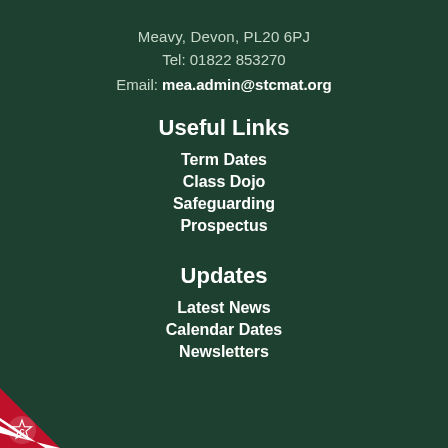Meavy, Devon, PL20 6PJ
Tel: 01822 853270
Email: mea.admin@stcmat.org
Useful Links
Term Dates
Class Dojo
Safeguarding
Prospectus
Updates
Latest News
Calendar Dates
Newsletters
[Figure (logo): School logo: red and white badge with star, bottom-left corner]